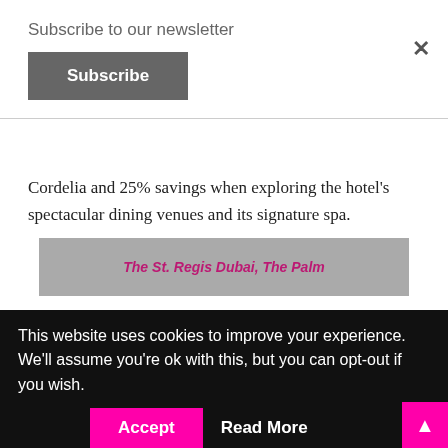Subscribe to our newsletter
Subscribe
Cordelia and 25% savings when exploring the hotel's spectacular dining venues and its signature spa.
[Figure (photo): The St. Regis Dubai, The Palm hotel image placeholder]
Guests can indulge in rejuvenating spa treatments at Iridium Spa and handcrafted menus, creative mixology, and bespoke experiences at the hotel's dining outlets, Cordelia, Dip Pool Bar, Her by Caroline Astor, and The St. Regis Bar.
This website uses cookies to improve your experience. We'll assume you're ok with this, but you can opt-out if you wish.
Accept
Read More